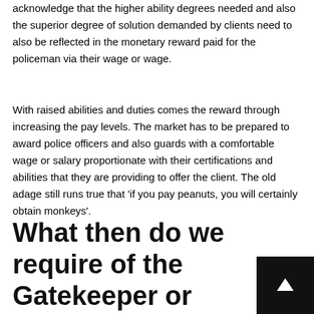acknowledge that the higher ability degrees needed and also the superior degree of solution demanded by clients need to also be reflected in the monetary reward paid for the policeman via their wage or wage.
With raised abilities and duties comes the reward through increasing the pay levels. The market has to be prepared to award police officers and also guards with a comfortable wage or salary proportionate with their certifications and abilities that they are providing to offer the client. The old adage still runs true that 'if you pay peanuts, you will certainly obtain monkeys'.
What then do we require of the Gatekeeper or Guard? What standard must they fulfill?